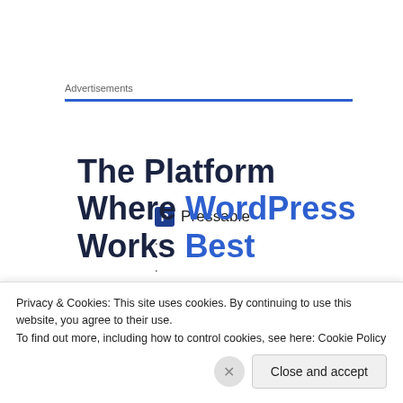Advertisements
[Figure (logo): Pressable logo with blue square icon containing letter P and text 'Pressable', followed by a dotted separator line]
The Platform Where WordPress Works Best
Privacy & Cookies: This site uses cookies. By continuing to use this website, you agree to their use.
To find out more, including how to control cookies, see here: Cookie Policy
Close and accept